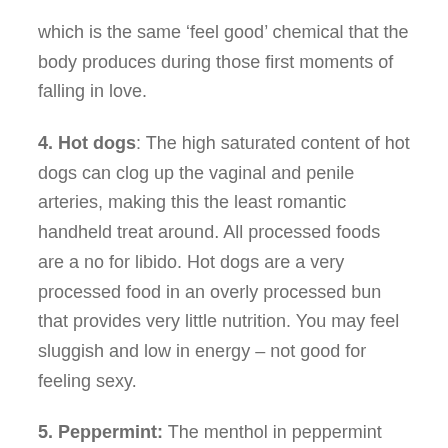which is the same ‘feel good’ chemical that the body produces during those first moments of falling in love.
4. Hot dogs: The high saturated content of hot dogs can clog up the vaginal and penile arteries, making this the least romantic handheld treat around. All processed foods are a no for libido. Hot dogs are a very processed food in an overly processed bun that provides very little nutrition. You may feel sluggish and low in energy – not good for feeling sexy.
5. Peppermint: The menthol in peppermint has been shown to reduce testosterone levels, sending